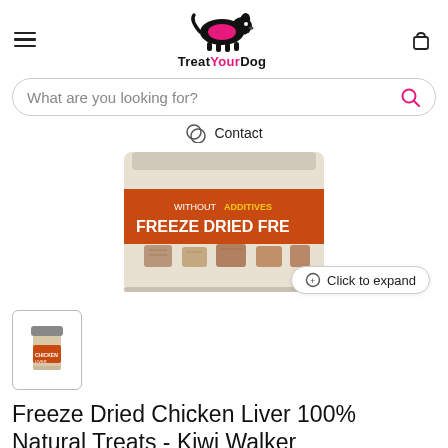TreatYourDog - What are you looking for? - Contact
[Figure (photo): Freeze Dried product container with orange label reading WITHOUT ADDITIVES FREEZE DRIED, showing freeze dried chunks inside a clear container]
[Figure (photo): Small thumbnail of Kiwi Walker Freeze Dried Chicken Liver product jar]
Freeze Dried Chicken Liver 100% Natural Treats - Kiwi Walker